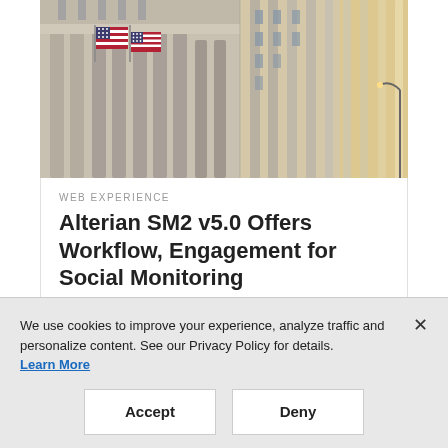[Figure (photo): Photograph of a neoclassical building facade with American flags and tall columns, city financial district style, two images side by side with warm sunlit right side]
WEB EXPERIENCE
Alterian SM2 v5.0 Offers Workflow, Engagement for Social Monitoring
We use cookies to improve your experience, analyze traffic and personalize content. See our Privacy Policy for details. Learn More
Accept
Deny